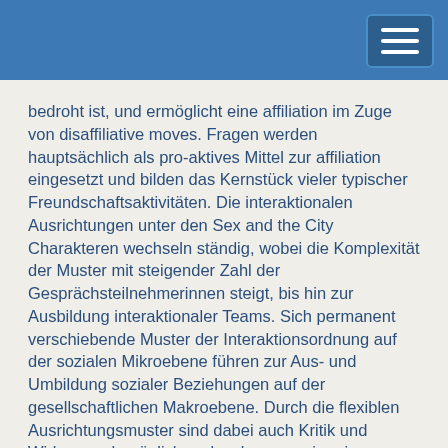bedroht ist, und ermöglicht eine affiliation im Zuge von disaffiliative moves. Fragen werden hauptsächlich als pro-aktives Mittel zur affiliation eingesetzt und bilden das Kernstück vieler typischer Freundschaftsaktivitäten. Die interaktionalen Ausrichtungen unter den Sex and the City Charakteren wechseln ständig, wobei die Komplexität der Muster mit steigender Zahl der Gesprächsteilnehmerinnen steigt, bis hin zur Ausbildung interaktionaler Teams. Sich permanent verschiebende Muster der Interaktionsordnung auf der sozialen Mikroebene führen zur Aus- und Umbildung sozialer Beziehungen auf der gesellschaftlichen Makroebene. Durch die flexiblen Ausrichtungsmuster sind dabei auch Kritik und Widerspruch möglich und es kann zu einer inneren Differenzierung des Freundschaftskreises im Sinne einer community of practice kommen. Die vorliegende Arbeit leistet damit nicht nur einen Beitrag zur Stilistik